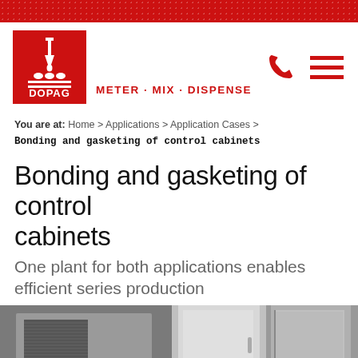DOPAG — METER · MIX · DISPENSE
[Figure (logo): DOPAG logo — red square with dispensing equipment icon and DOPAG wordmark, with tagline METER · MIX · DISPENSE]
You are at: Home > Applications > Application Cases > Bonding and gasketing of control cabinets
Bonding and gasketing of control cabinets
One plant for both applications enables efficient series production
[Figure (photo): Photograph of metal control cabinets — industrial enclosures shown from front, including one with ventilation grille on the left and white/grey panels in the center and right]